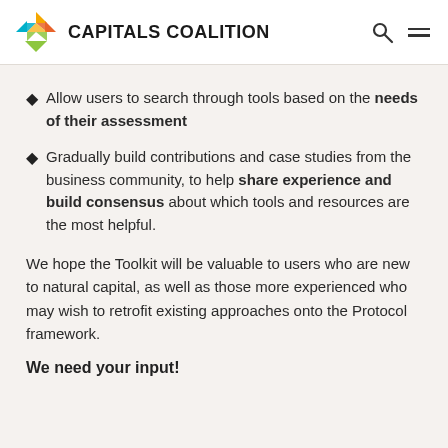CAPITALS COALITION
Allow users to search through tools based on the needs of their assessment
Gradually build contributions and case studies from the business community, to help share experience and build consensus about which tools and resources are the most helpful.
We hope the Toolkit will be valuable to users who are new to natural capital, as well as those more experienced who may wish to retrofit existing approaches onto the Protocol framework.
We need your input!